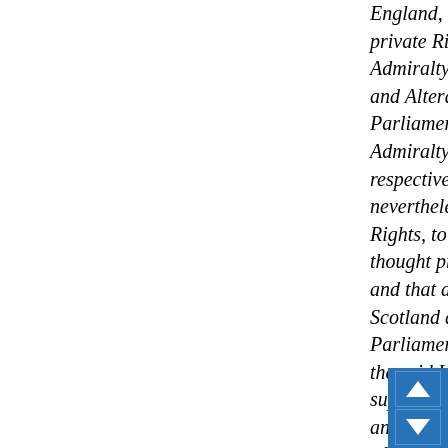England, for Determination of all Maritime Cases m private Rights in Scotland competent to the Jurisd Admiralty Court, subject nevertheless to such Reg and Alterations as shall be thought proper to be m Parliament of Great Britain; and that the Heritable Admiralty and Vice-Admiralties in Scotland be res respective Proprietors as Rights of Property, subje nevertheless, as to the Manner of exercising such Rights, to such Regulations and Alterations, as sh thought proper to be made by the Parliament of G and that all other Courts now in being within the K Scotland do remain, but subject to Alterations by t Parliament of Great Britain; and that all inferior Co the said Limits do remain subordinate, as they are supreme Courts of Justice within the same, in all t and that no Causes in Scotland be cognoscible by of Chancery, Queens-Bench, Common-Pleas, or a Court in Westminster-hall; and that the said Courts other of the like Nature, after the Union, shall have to cognosce, review, or alter the Acts or Se Judicatures within Scotland, or stop the Ex